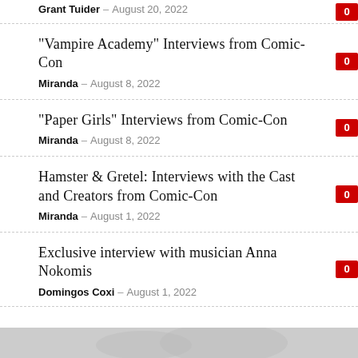Grant Tuider – August 20, 2022 | 0
“Vampire Academy” Interviews from Comic-Con | Miranda – August 8, 2022 | 0
“Paper Girls” Interviews from Comic-Con | Miranda – August 8, 2022 | 0
Hamster & Gretel: Interviews with the Cast and Creators from Comic-Con | Miranda – August 1, 2022 | 0
Exclusive interview with musician Anna Nokomis | Domingos Coxi – August 1, 2022 | 0
[Figure (photo): Partial photo visible at bottom of page]